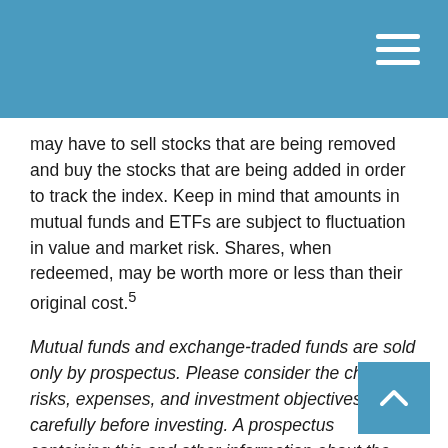may have to sell stocks that are being removed and buy the stocks that are being added in order to track the index. Keep in mind that amounts in mutual funds and ETFs are subject to fluctuation in value and market risk. Shares, when redeemed, may be worth more or less than their original cost.5
Mutual funds and exchange-traded funds are sold only by prospectus. Please consider the charges, risks, expenses, and investment objectives carefully before investing. A prospectus containing this and other information about the investment company can be obtained from your financial professional. Read it carefully before you invest or send money.
Investors cannot invest in an index. Also, index performance is not indicative of the past performance of a